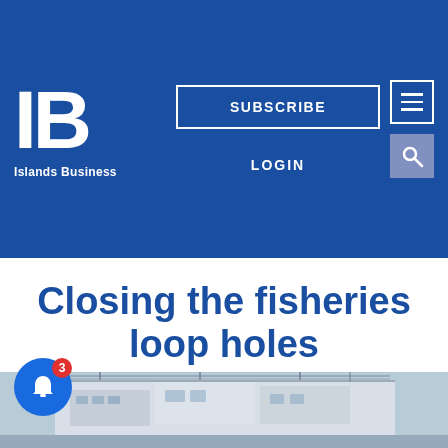Islands Business — SUBSCRIBE | LOGIN | [hamburger menu] | [search]
Closing the fisheries loop holes
NETANI RIKA, Pasay City, the Philippines   December 5, 2017
News Break   Fishing
[Figure (photo): Photo of fishing boats/vessels, partially visible at the bottom of the page]